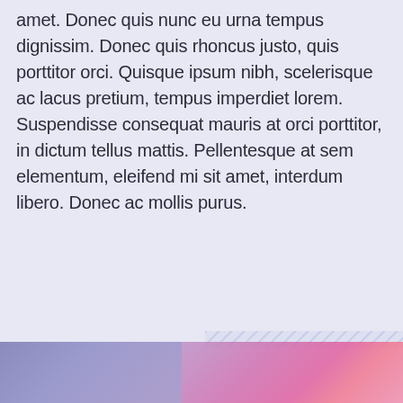amet. Donec quis nunc eu urna tempus dignissim. Donec quis rhoncus justo, quis porttitor orci. Quisque ipsum nibh, scelerisque ac lacus pretium, tempus imperdiet lorem. Suspendisse consequat mauris at orci porttitor, in dictum tellus mattis. Pellentesque at sem elementum, eleifend mi sit amet, interdum libero. Donec ac mollis purus.
[Figure (photo): A partially visible image at the bottom of the page with purple-to-pink gradient colors, appearing to show a person, with a diagonal hatched strip overlay above it.]